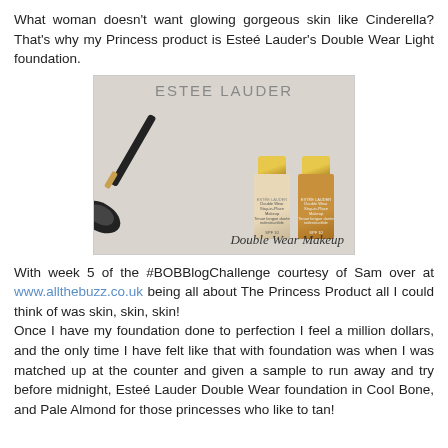What woman doesn't want glowing gorgeous skin like Cinderella? That's why my Princess product is Esteé Lauder's Double Wear Light foundation.
[Figure (photo): Photo of two Esteé Lauder Double Wear foundation bottles (one light shade, one darker shade) with a makeup brush, with 'ESTEE LAUDER' text at top and 'Double Wear Makeup' script at bottom.]
With week 5 of the #BOBBlogChallenge courtesy of Sam over at www.allthebuzz.co.uk being all about The Princess Product all I could think of was skin, skin, skin! Once I have my foundation done to perfection I feel a million dollars, and the only time I have felt like that with foundation was when I was matched up at the counter and given a sample to run away and try before midnight, Esteé Lauder Double Wear foundation in Cool Bone, and Pale Almond for those princesses who like to tan!